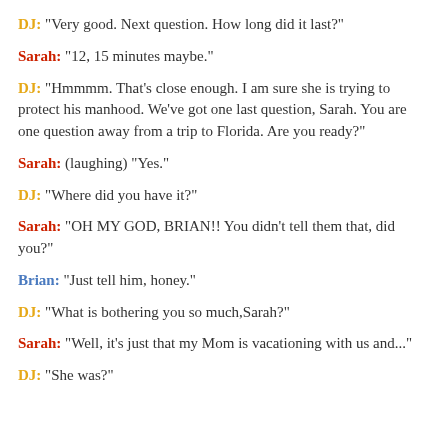DJ: "Very good. Next question. How long did it last?"
Sarah: "12, 15 minutes maybe."
DJ: "Hmmmm. That's close enough. I am sure she is trying to protect his manhood. We've got one last question, Sarah. You are one question away from a trip to Florida. Are you ready?"
Sarah: (laughing) "Yes."
DJ: "Where did you have it?"
Sarah: "OH MY GOD, BRIAN!! You didn't tell them that, did you?"
Brian: "Just tell him, honey."
DJ: "What is bothering you so much,Sarah?"
Sarah: "Well, it's just that my Mom is vacationing with us and..."
DJ: "She was?"